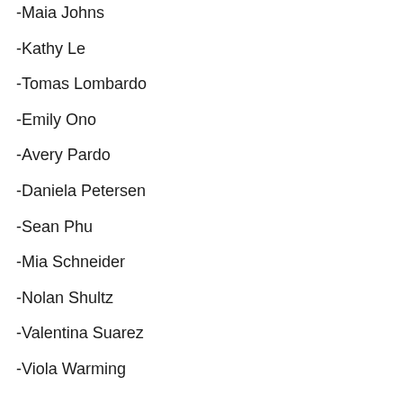-Maia Johns
-Kathy Le
-Tomas Lombardo
-Emily Ono
-Avery Pardo
-Daniela Petersen
-Sean Phu
-Mia Schneider
-Nolan Shultz
-Valentina Suarez
-Viola Warming